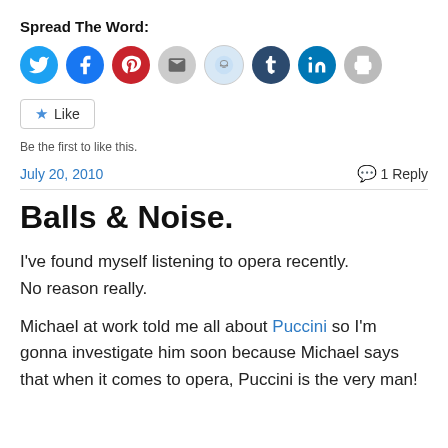Spread The Word:
[Figure (infographic): Row of social sharing icon circles: Twitter (blue), Facebook (blue), Pinterest (red), Email (grey), Reddit (light blue), Tumblr (dark blue), LinkedIn (teal), Print (grey)]
[Figure (infographic): Like button with star icon]
Be the first to like this.
July 20, 2010
1 Reply
Balls & Noise.
I've found myself listening to opera recently.
No reason really.
Michael at work told me all about Puccini so I'm gonna investigate him soon because Michael says that when it comes to opera, Puccini is the very man!